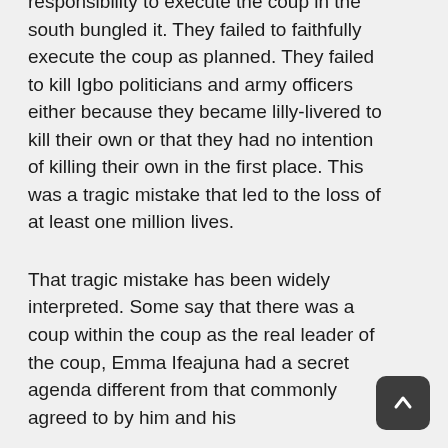majors those saddled with the responsibility to execute the coup in the south bungled it. They failed to faithfully execute the coup as planned. They failed to kill Igbo politicians and army officers either because they became lilly-livered to kill their own or that they had no intention of killing their own in the first place. This was a tragic mistake that led to the loss of at least one million lives.

That tragic mistake has been widely interpreted. Some say that there was a coup within the coup as the real leader of the coup, Emma Ifeajuna had a secret agenda different from that commonly agreed to by him and his